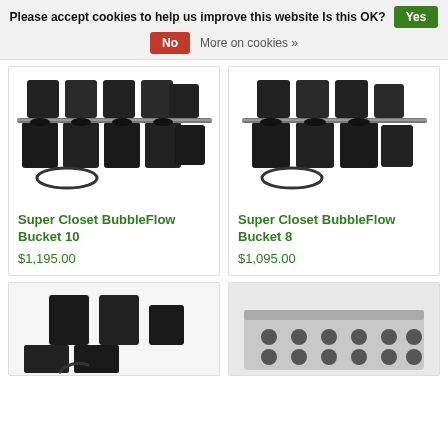Please accept cookies to help us improve this website Is this OK? Yes | No | More on cookies »
[Figure (photo): Super Closet BubbleFlow Bucket 10 hydroponic system with 10 black buckets arranged in two rows connected by metal rails and tubes]
Super Closet BubbleFlow Bucket 10
$1,195.00
[Figure (photo): Super Closet BubbleFlow Bucket 8 hydroponic system with 8 black buckets arranged in two rows connected by metal rails and tubes]
Super Closet BubbleFlow Bucket 8
$1,095.00
[Figure (photo): Partial view of another hydroponic bucket system at bottom left]
[Figure (photo): Partial view of a hydroponic tray/panel system with multiple holes at bottom right]